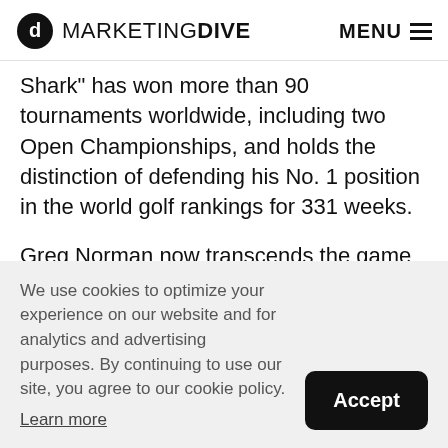MARKETING DIVE  MENU
Shark" has won more than 90 tournaments worldwide, including two Open Championships, and holds the distinction of defending his No. 1 position in the world golf rankings for 331 weeks.
Greg Norman now transcends the game of golf, with more than a dozen companies around the world bearing his name and the iconic shark logo as part of the Greg Norman Company, which he leads as Chairman & CEO. His internationally recognized...
We use cookies to optimize your experience on our website and for analytics and advertising purposes. By continuing to use our site, you agree to our cookie policy. Learn more